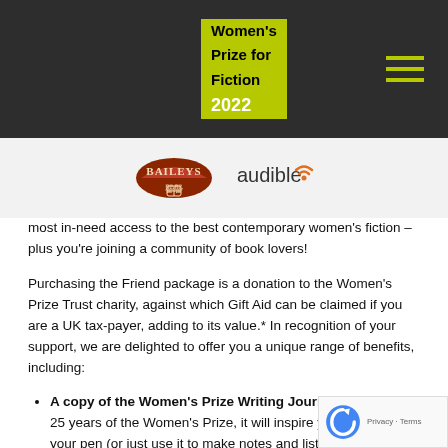Women's Prize for Fiction 2022
[Figure (logo): Baileys logo and Audible logo side by side on a light grey background]
most in-need access to the best contemporary women's fiction – plus you're joining a community of book lovers!
Purchasing the Friend package is a donation to the Women's Prize Trust charity, against which Gift Aid can be claimed if you are a UK tax-payer, adding to its value.* In recognition of your support, we are delighted to offer you a unique range of benefits, including:
A copy of the Women's Prize Writing Journal: celebrating 25 years of the Women's Prize, it will inspire you to pick up your pen (or just use it to make notes and lists!)
A complimentary ticket to our virtual shortlist festival: three nights of book chat with the six authors in the